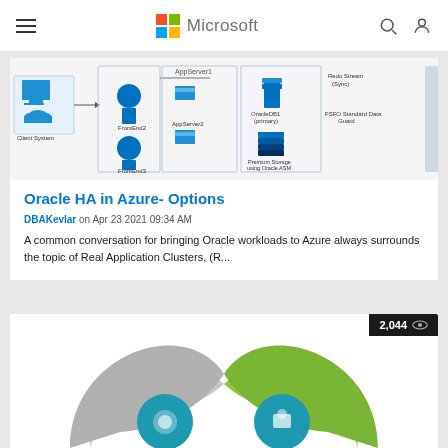Microsoft
[Figure (screenshot): Architecture diagram showing Oracle HA setup with Client System, FrontEnd, AppServer, OracleDB (primary), Redo Stream (Sync), FSFO Standard Data Guard, and Premium Storage using Oracle ASM.]
Oracle HA in Azure- Options
DBAKevlar on Apr 23 2021 09:34 AM
A common conversation for bringing Oracle workloads to Azure always surrounds the topic of Real Application Clusters, (R...
[Figure (screenshot): Partial view of a second article card with a view count of 2,044 and an infinity-style icon graphic in teal, gray, and green colors.]